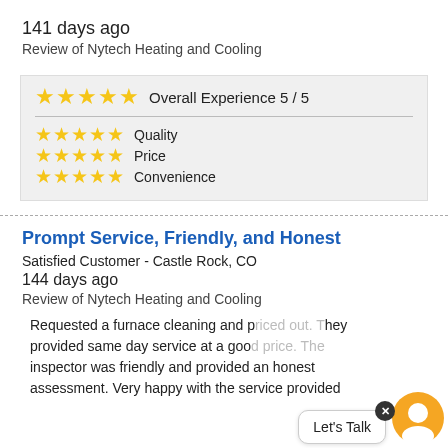141 days ago
Review of Nytech Heating and Cooling
[Figure (infographic): Rating box with 5/5 stars for Overall Experience, Quality, Price, and Convenience]
Prompt Service, Friendly, and Honest
Satisfied Customer - Castle Rock, CO
144 days ago
Review of Nytech Heating and Cooling
Requested a furnace cleaning and p... They provided same day service at a goo... inspector was friendly and provided an honest assessment. Very happy with the service provided
[Figure (infographic): Chat widget overlay with 'Let's Talk' bubble and orange chat icon with X close button]